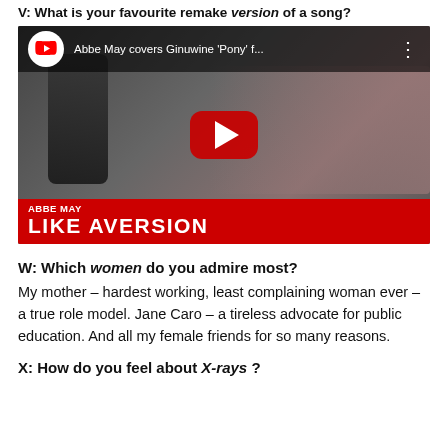V: What is your favourite remake version of a song?
[Figure (screenshot): YouTube embed thumbnail showing Abbe May covering Ginuwine 'Pony' for Like A Version. Shows a woman with dark hair and headphones in front of a microphone. Red play button in center. Top bar shows YouTube logo and title 'Abbe May covers Ginuwine Pony f...'. Bottom red bar shows 'ABBE MAY' and 'LIKE AVERSION' in bold white text.]
W: Which women do you admire most?
My mother – hardest working, least complaining woman ever – a true role model. Jane Caro – a tireless advocate for public education. And all my female friends for so many reasons.
X: How do you feel about X-rays ?